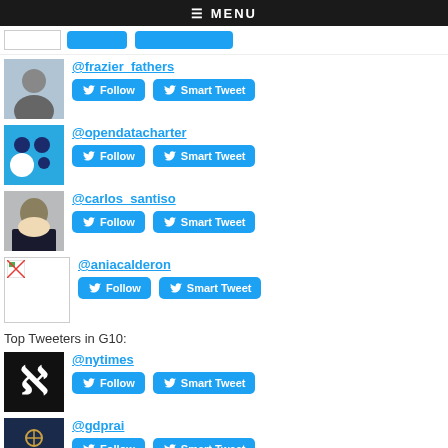≡ MENU
@frazier_fathers
@opendatacharter
@carlos_santiso
@aniacalderon
Top Tweeters in G10:
@nytimes
@gdprai
@cities_today